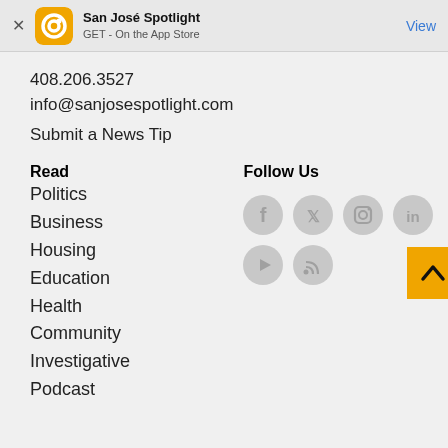[Figure (screenshot): App store banner with San José Spotlight app icon, title, subtitle GET - On the App Store, and View button]
408.206.3527
info@sanjosespotlight.com
Submit a News Tip
Read
Follow Us
Politics
Business
Housing
Education
Health
Community
Investigative
Podcast
[Figure (illustration): Social media icons: Facebook, Twitter, Instagram, LinkedIn, YouTube, RSS feed]